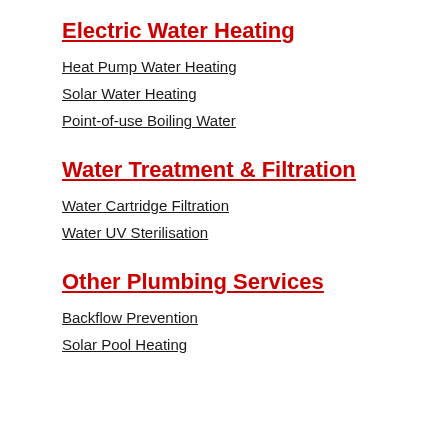Electric Water Heating
Heat Pump Water Heating
Solar Water Heating
Point-of-use Boiling Water
Water Treatment & Filtration
Water Cartridge Filtration
Water UV Sterilisation
Other Plumbing Services
Backflow Prevention
Solar Pool Heating